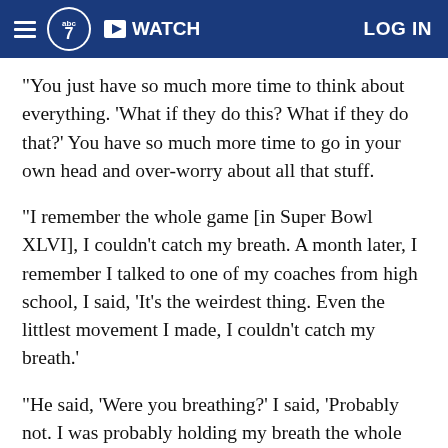ABC7 WATCH LOG IN
"You just have so much more time to think about everything. 'What if they do this? What if they do that?' You have so much more time to go in your own head and over-worry about all that stuff.
"I remember the whole game [in Super Bowl XLVI], I couldn't catch my breath. A month later, I remember I talked to one of my coaches from high school, I said, 'It's the weirdest thing. Even the littlest movement I made, I couldn't catch my breath.'
"He said, 'Were you breathing?' I said, 'Probably not. I was probably holding my breath the whole time because I was so nervous.'